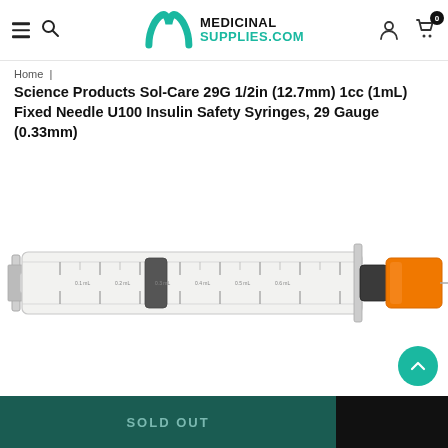MedicinalSupplies.com
Home | Science Products Sol-Care 29G 1/2in (12.7mm) 1cc (1mL) Fixed Needle U100 Insulin Safety Syringes, 29 Gauge (0.33mm)
Science Products Sol-Care 29G 1/2in (12.7mm) 1cc (1mL) Fixed Needle U100 Insulin Safety Syringes, 29 Gauge (0.33mm)
[Figure (photo): A Sol-Care insulin safety syringe with orange safety cap, 29 gauge, 1/2 inch needle, 1cc capacity. The syringe barrel shows measurement markings and has a dark plunger on the left end.]
SOLD OUT